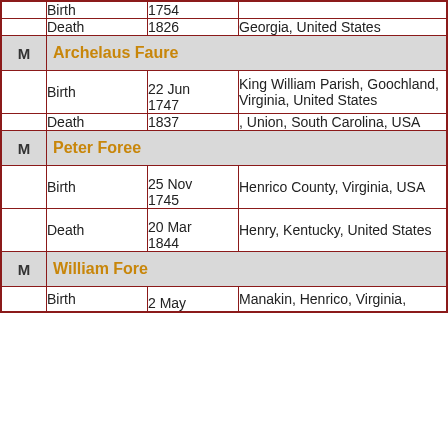|  | Event | Date | Place |
| --- | --- | --- | --- |
|  | Birth | 1754 |  |
|  | Death | 1826 | Georgia, United States |
| M | Archelaus Faure |  |  |
|  | Birth | 22 Jun 1747 | King William Parish, Goochland, Virginia, United States |
|  | Death | 1837 | , Union, South Carolina, USA |
| M | Peter Foree |  |  |
|  | Birth | 25 Nov 1745 | Henrico County, Virginia, USA |
|  | Death | 20 Mar 1844 | Henry, Kentucky, United States |
| M | William Fore |  |  |
|  | Birth | 2 May | Manakin, Henrico, Virginia, |